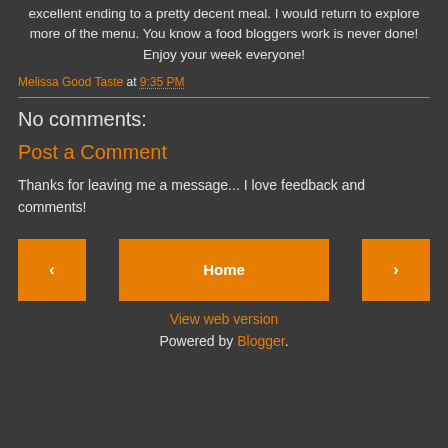excellent ending to a pretty decent meal. I would return to explore more of the menu. You know a food bloggers work is never done! Enjoy your week everyone!
Melissa Good Taste at 9:35 PM
No comments:
Post a Comment
Thanks for leaving me a message... I love feedback and comments!
< Home >
View web version
Powered by Blogger.